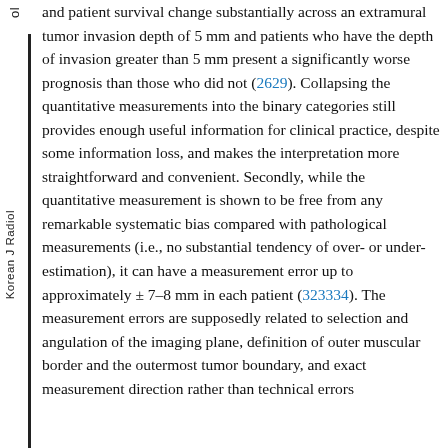ol
and patient survival change substantially across an extramural tumor invasion depth of 5 mm and patients who have the depth of invasion greater than 5 mm present a significantly worse prognosis than those who did not (2629). Collapsing the quantitative measurements into the binary categories still provides enough useful information for clinical practice, despite some information loss, and makes the interpretation more straightforward and convenient. Secondly, while the quantitative measurement is shown to be free from any remarkable systematic bias compared with pathological measurements (i.e., no substantial tendency of over- or under-estimation), it can have a measurement error up to approximately ± 7–8 mm in each patient (323334). The measurement errors are supposedly related to selection and angulation of the imaging plane, definition of outer muscular border and the outermost tumor boundary, and exact measurement direction rather than technical errors
Korean J Radiol